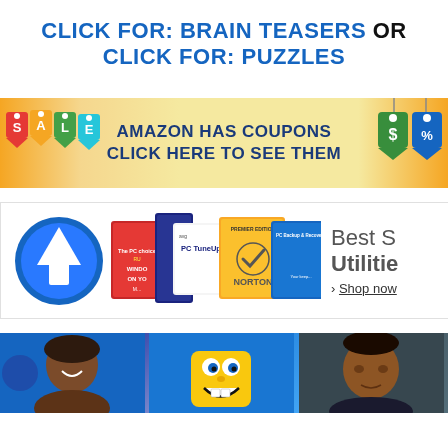CLICK FOR: BRAIN TEASERS OR CLICK FOR: PUZZLES
[Figure (infographic): Amazon Has Coupons advertisement banner with sale tags on left, coupon text in center, dollar/percent icons on right, yellow/orange background]
[Figure (infographic): Software utilities advertisement banner showing PC TuneUp, Norton, PC Backup software box covers with 'Best S... Utilitie... > Shop now' text]
[Figure (photo): Bottom banner showing three panels: a woman smiling, SpongeBob cartoon character, and a man's face, on blue background]